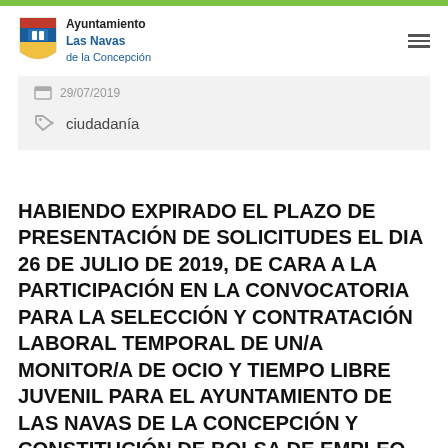Ayuntamiento Las Navas de la Concepción
29/07/2019
ciudadanía
HABIENDO EXPIRADO EL PLAZO DE PRESENTACIÓN DE SOLICITUDES EL DIA 26 DE JULIO DE 2019, DE CARA A LA PARTICIPACIÓN EN LA CONVOCATORIA PARA LA SELECCIÓN Y CONTRATACIÓN LABORAL TEMPORAL DE UN/A MONITOR/A DE OCIO Y TIEMPO LIBRE JUVENIL PARA EL AYUNTAMIENTO DE LAS NAVAS DE LA CONCEPCIÓN Y CONSTITUCIÓN DE BOLSA DE EMPLEO PARA POSIBLES